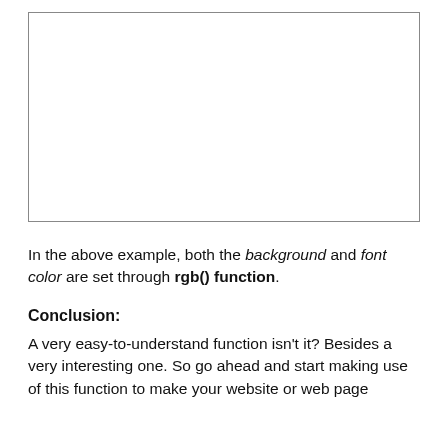[Figure (other): Empty white box with border representing a code/image example area]
In the above example, both the background and font color are set through rgb() function.
Conclusion:
A very easy-to-understand function isn't it? Besides a very interesting one. So go ahead and start making use of this function to make your website or web page